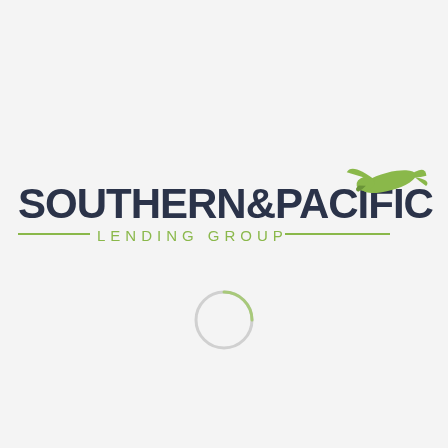[Figure (logo): Southern & Pacific Lending Group logo with dark navy bold text 'SOUTHERN&PACIFIC', green spaced text 'LENDING GROUP' flanked by horizontal lines, and a green bird (hawk/falcon) silhouette to the upper right. Below the text is a light grey circular loading spinner arc.]